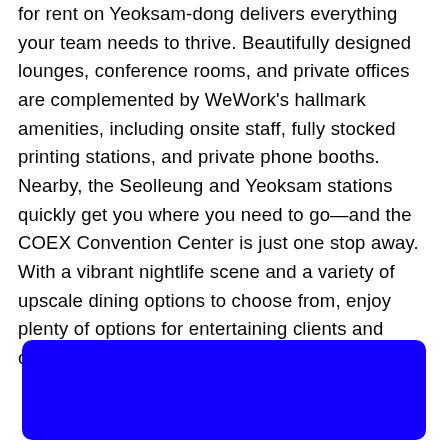for rent on Yeoksam-dong delivers everything your team needs to thrive. Beautifully designed lounges, conference rooms, and private offices are complemented by WeWork's hallmark amenities, including onsite staff, fully stocked printing stations, and private phone booths. Nearby, the Seolleung and Yeoksam stations quickly get you where you need to go—and the COEX Convention Center is just one stop away. With a vibrant nightlife scene and a variety of upscale dining options to choose from, enjoy plenty of options for entertaining clients and celebrating team wins. Ready to
[Figure (other): A solid blue rounded rectangle button element]